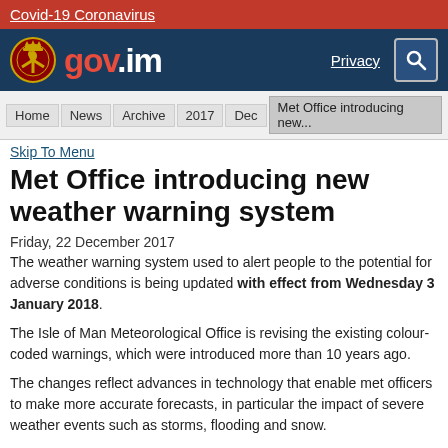Covid-19 Coronavirus
[Figure (logo): gov.im government logo with Isle of Man crest, Privacy link and search icon on dark blue background]
Home | News | Archive | 2017 | Dec | Met Office introducing new...
Skip To Menu
Met Office introducing new weather warning system
Friday, 22 December 2017
The weather warning system used to alert people to the potential for adverse conditions is being updated with effect from Wednesday 3 January 2018.
The Isle of Man Meteorological Office is revising the existing colour-coded warnings, which were introduced more than 10 years ago.
The changes reflect advances in technology that enable met officers to make more accurate forecasts, in particular the impact of severe weather events such as storms, flooding and snow.